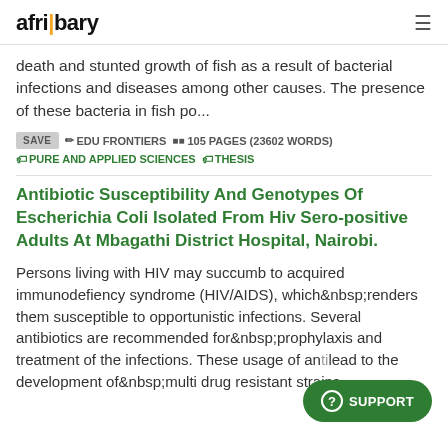afribary
death and stunted growth of fish as a result of bacterial infections and diseases among other causes. The presence of these bacteria in fish po...
SAVE  EDU FRONTIERS  105 PAGES (23602 WORDS)  PURE AND APPLIED SCIENCES  THESIS
Antibiotic Susceptibility And Genotypes Of Escherichia Coli Isolated From Hiv Sero-positive Adults At Mbagathi District Hospital, Nairobi.
Persons living with HIV may succumb to acquired immunodefiency syndrome (HIV/AIDS), which&nbsp;renders them susceptible to opportunistic infections. Several antibiotics are recommended for&nbsp;prophylaxis and treatment of the infections. These usage of antibiotics may lead to the development of&nbsp;multi drug resistant strains